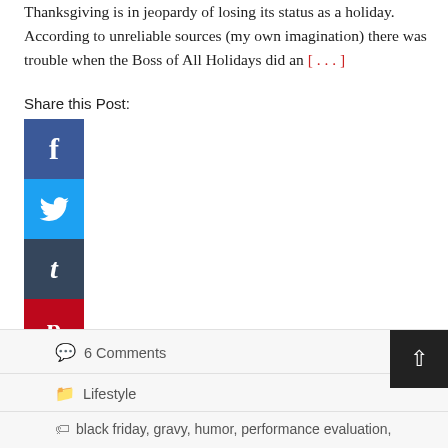Thanksgiving is in jeopardy of losing its status as a holiday. According to unreliable sources (my own imagination) there was trouble when the Boss of All Holidays did an [...]
Share this Post:
[Figure (other): Social media sharing icons: Facebook (blue), Twitter (light blue), Tumblr (dark blue-grey), Pinterest (red), LinkedIn (blue), Digg (dark/black), and a plus/more icon (blue)]
6 Comments
Lifestyle
black friday, gravy, humor, performance evaluation,